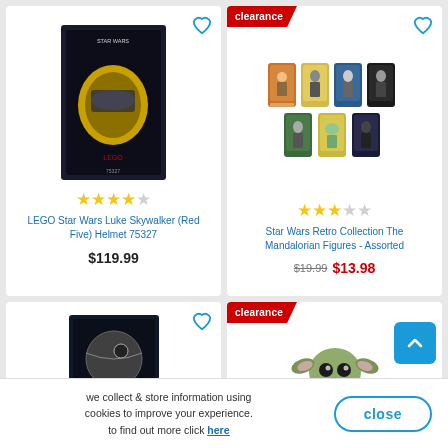[Figure (photo): LEGO Star Wars Luke Skywalker (Red Five) Helmet 75327 product box]
★★★★☆
LEGO Star Wars Luke Skywalker (Red Five) Helmet 75327
$119.99
[Figure (photo): Star Wars Retro Collection The Mandalorian Figures - Assorted product package with multiple character cards]
clearance
★★★☆☆
Star Wars Retro Collection The Mandalorian Figures - Assorted
$19.99  $13.98
[Figure (photo): LEGO set product box (partial, bottom row left card)]
clearance
[Figure (photo): Baby Yoda / Grogu figurine (bottom row right card)]
we collect & store information using cookies to improve your experience. to find out more click here
close